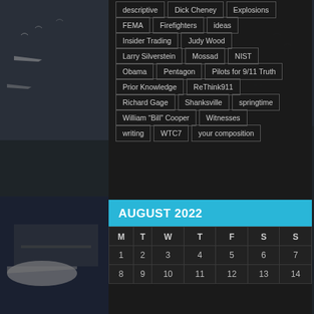[Figure (photo): Black and white aerial cityscape with planes, serving as background image]
descriptive
Dick Cheney
Explosions
FEMA
Firefighters
ideas
Insider Trading
Judy Wood
Larry Silverstein
Mossad
NIST
Obama
Pentagon
Pilots for 9/11 Truth
Prior Knowledge
ReThink911
Richard Gage
Shanksville
springtime
William "Bill" Cooper
Witnesses
writing
WTC7
your composition
| M | T | W | T | F | S | S |
| --- | --- | --- | --- | --- | --- | --- |
| 1 | 2 | 3 | 4 | 5 | 6 | 7 |
| 8 | 9 | 10 | 11 | 12 | 13 | 14 |